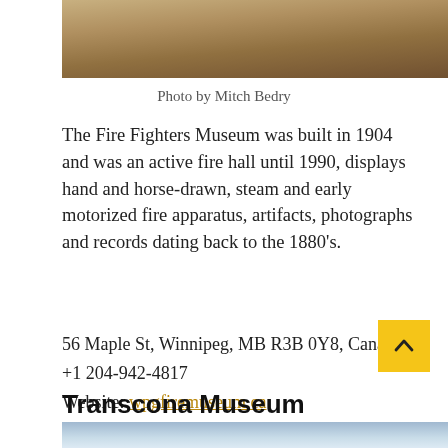[Figure (photo): Top portion of a photograph showing museum artifacts or equipment, partially visible at the top of the page.]
Photo by Mitch Bedry
The Fire Fighters Museum was built in 1904 and was an active fire hall until 1990, displays hand and horse-drawn, steam and early motorized fire apparatus, artifacts, photographs and records dating back to the 1880's.
56 Maple St, Winnipeg, MB R3B 0Y8, Canada
+1 204-942-4817
Website: wpgfiremuseum.ca
Transcona Museum
[Figure (photo): Bottom portion of a photograph showing sky, partially visible at the bottom of the page.]